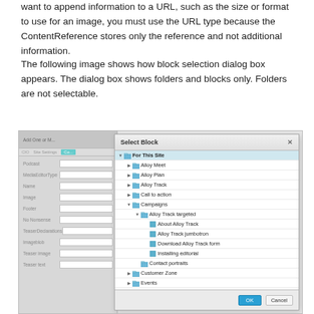want to append information to a URL, such as the size or format to use for an image, you must use the URL type because the ContentReference stores only the reference and not additional information.
The following image shows how block selection dialog box appears. The dialog box shows folders and blocks only. Folders are not selectable.
[Figure (screenshot): Screenshot of a block selection dialog box titled 'Select Block'. The dialog shows a tree of folders and blocks including: For This Site, Alloy Meet, Alloy Plan, Alloy Track, Call to action, Campaigns (expanded showing Alloy Track targeted, which contains About Alloy Track, Alloy Track jumbotron, Download Alloy Track form, Installing editorial), Contact portraits, Customer Zone, Events, ImportedStuff. The dialog has OK and Cancel buttons at the bottom. A partially visible form is shown on the left side of the screenshot.]